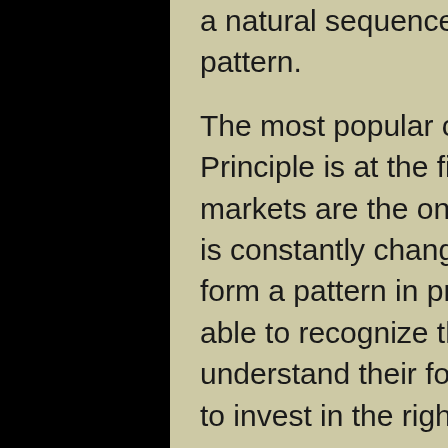a natural sequence. This specific and measurable pattern.
The most popular of places to implement this Principle is at the financial markets. Financial markets are the one place where investor psychology is constantly changing and therefore one is able to form a pattern in price movements. Once you are able to recognize these patterns in prices and understand their forms of repetition, you will be able to invest in the right manner.
What the Elliott Wave Principle does is measure investor-based psychology which forms the actual fueling engine of the financial markets. Every time people are optimistic on an issue, the bidding